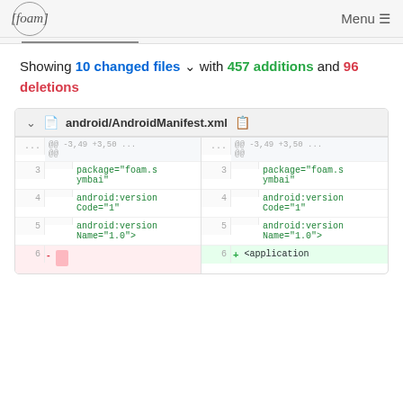[foam] Menu
Showing 10 changed files with 457 additions and 96 deletions
| Line (old) | Meta (old) | Code (old) | Line (new) | Meta (new) | Code (new) |
| --- | --- | --- | --- | --- | --- |
| ... | @@ -3,49 +3,50 | ... | @@ -3,49 +3,50 |
|  | @@ |  | @@ |
| 3 |  | package="foam.symbai" | 3 |  | package="foam.symbai" |
| 4 |  | android:versionCode="1" | 4 |  | android:versionCode="1" |
| 5 |  | android:versionName="1.0"> | 5 |  | android:versionName="1.0"> |
| 6 | - | [deleted block] | 6 | + | <application |